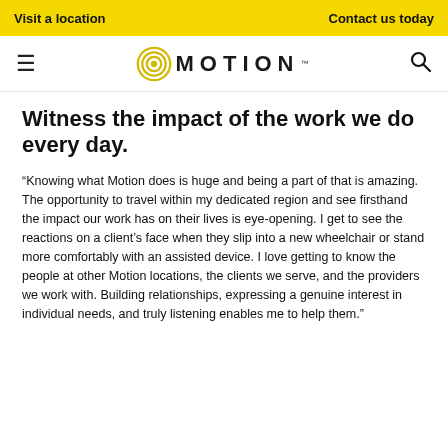Visit a location | Contact us today
[Figure (logo): Motion company logo with circular concentric rings icon and MOTION text in large bold letters]
Witness the impact of the work we do every day.
“Knowing what Motion does is huge and being a part of that is amazing. The opportunity to travel within my dedicated region and see firsthand the impact our work has on their lives is eye-opening. I get to see the reactions on a client’s face when they slip into a new wheelchair or stand more comfortably with an assisted device. I love getting to know the people at other Motion locations, the clients we serve, and the providers we work with. Building relationships, expressing a genuine interest in individual needs, and truly listening enables me to help them.”